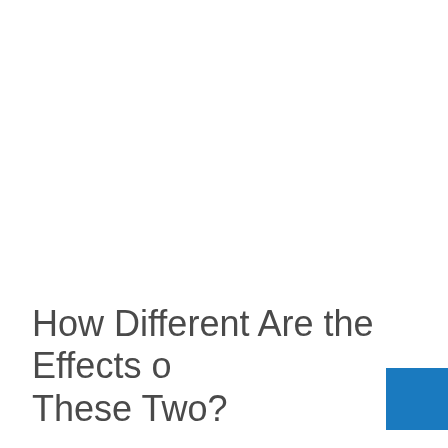How Different Are the Effects of These Two?